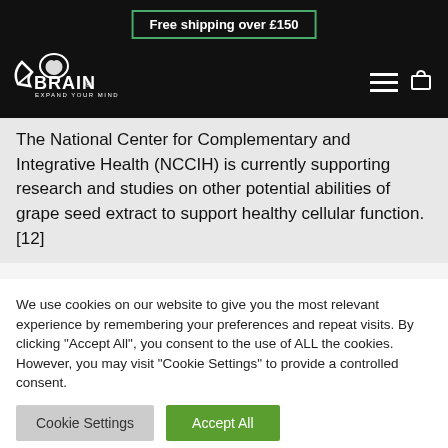Free shipping over £150
[Figure (logo): XBrain - Expand Your Mind logo on black background with hamburger menu and cart icon]
The National Center for Complementary and Integrative Health (NCCIH) is currently supporting research and studies on other potential abilities of grape seed extract to support healthy cellular function. [12]
We use cookies on our website to give you the most relevant experience by remembering your preferences and repeat visits. By clicking "Accept All", you consent to the use of ALL the cookies. However, you may visit "Cookie Settings" to provide a controlled consent.